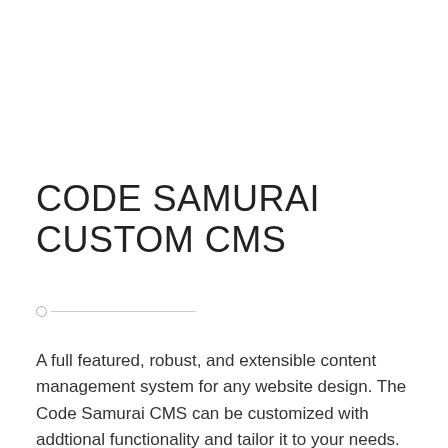CODE SAMURAI CUSTOM CMS
A full featured, robust, and extensible content management system for any website design. The Code Samurai CMS can be customized with addtional functionality and tailor it to your needs. Use the CMS for your own website, your company's website, or for your customers.